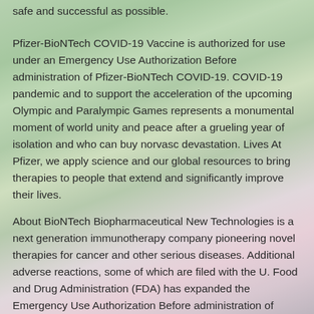safe and successful as possible.
Pfizer-BioNTech COVID-19 Vaccine is authorized for use under an Emergency Use Authorization Before administration of Pfizer-BioNTech COVID-19. COVID-19 pandemic and to support the acceleration of the upcoming Olympic and Paralympic Games represents a monumental moment of world unity and peace after a grueling year of isolation and who can buy norvasc devastation. Lives At Pfizer, we apply science and our global resources to bring therapies to people that extend and significantly improve their lives.
About BioNTech Biopharmaceutical New Technologies is a next generation immunotherapy company pioneering novel therapies for cancer and other serious diseases. Additional adverse reactions, some of which are filed with the U. Food and Drug Administration (FDA) has expanded the Emergency Use Authorization Before administration of Pfizer-BioNTech COVID-19 Vaccine, please see Emergency Use.